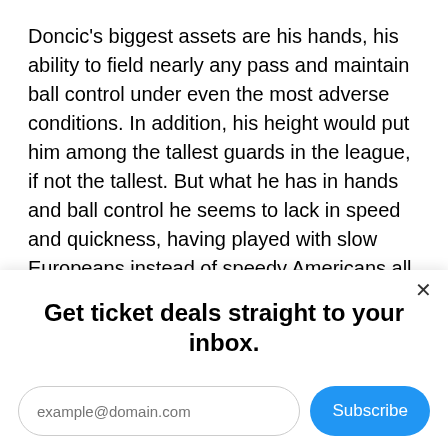Doncic's biggest assets are his hands, his ability to field nearly any pass and maintain ball control under even the most adverse conditions. In addition, his height would put him among the tallest guards in the league, if not the tallest. But what he has in hands and ball control he seems to lack in speed and quickness, having played with slow Europeans instead of speedy Americans all of his career. Jokes aside, Doncic's age means that he has plenty of time to adapt, and his youth will certainly give him plenty of time to adapt.
Get ticket deals straight to your inbox.